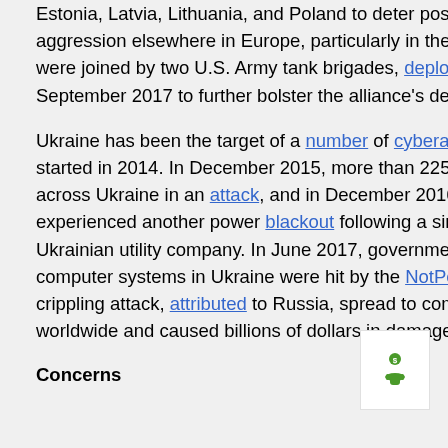Estonia, Latvia, Lithuania, and Poland to deter possible future Russian aggression elsewhere in Europe, particularly in the Baltics. These battalions were joined by two U.S. Army tank brigades, deployed to Poland in September 2017 to further bolster the alliance's deterrence presence.
Ukraine has been the target of a number of cyberattacks since the conflict started in 2014. In December 2015, more than 225,000 people lost power across Ukraine in an attack, and in December 2016 parts of Kiev experienced another power blackout following a similar attack targeting a Ukrainian utility company. In June 2017, government and business computer systems in Ukraine were hit by the NotPetya cyberattack; the crippling attack, attributed to Russia, spread to computer systems worldwide and caused billions of dollars in damages.
Concerns
[Figure (illustration): Small green icon showing a hand receiving money/coin, on a white background panel]